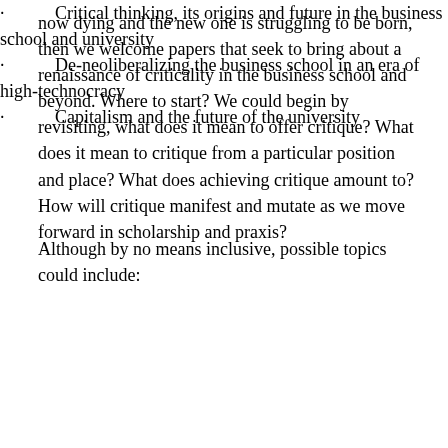now dying and the new one is struggling to be born, then we welcome papers that seek to bring about a renaissance of criticality in the business school and beyond. Where to start? We could begin by revisiting, what does it mean to offer critique? What does it mean to critique from a particular position and place? What does achieving critique amount to? How will critique manifest and mutate as we move forward in scholarship and praxis?
Although by no means inclusive, possible topics could include:
Critical thinking, its origins and future in the business school and university
De-neoliberalizing the business school in an era of high-technocracy
Capitalism and the future of the university